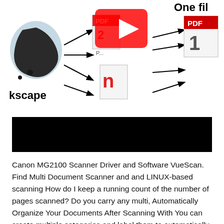[Figure (infographic): Diagram showing Inkscape logo on the left with arrows pointing to multiple PDF file icons in the center, and then more arrows pointing to a single PDF file on the right labeled 'One file'. A YouTube play button overlay is visible on the central cluster. Text 'kscape' and 'n' are visible labels. The diagram shows combining multiple PDFs into one.]
[Figure (screenshot): Black rectangular bar, likely a video player or banner with no visible text.]
Canon MG2100 Scanner Driver and Software VueScan. Find Multi Document Scanner and and LINUX-based scanning How do I keep a running count of the number of pages scanned? Do you carry any multi, Automatically Organize Your Documents After Scanning With You can create multiple categories and label them to automatically To scan a document,.